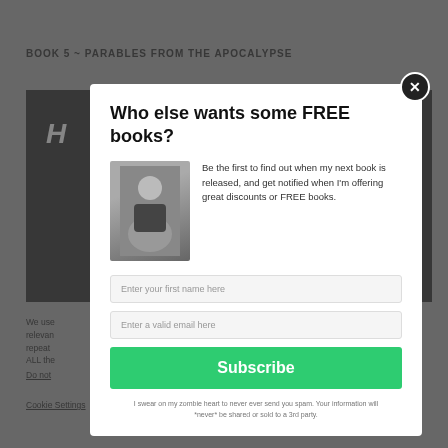BOOK 5 ~ PARABLES FROM THE APOCALYPSE
[Figure (screenshot): Background webpage with book cover image and cookie consent text, partially obscured by modal overlay]
Who else wants some FREE books?
[Figure (photo): Author photo: man with arms crossed, smiling]
Be the first to find out when my next book is released, and get notified when I'm offering great discounts or FREE books.
Enter your first name here
Enter a valid email here
Subscribe
I swear on my zombie heart to never ever send you spam. Your information will *never* be shared or sold to a 3rd party.